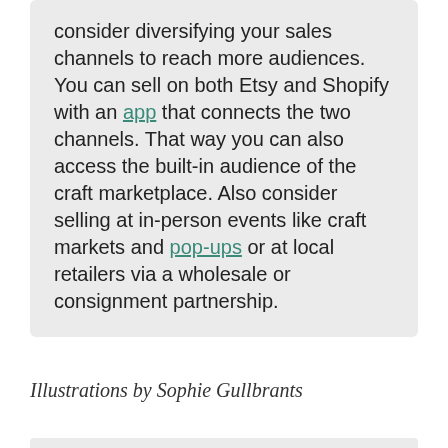consider diversifying your sales channels to reach more audiences. You can sell on both Etsy and Shopify with an app that connects the two channels. That way you can also access the built-in audience of the craft marketplace. Also consider selling at in-person events like craft markets and pop-ups or at local retailers via a wholesale or consignment partnership.
Illustrations by Sophie Gullbrants